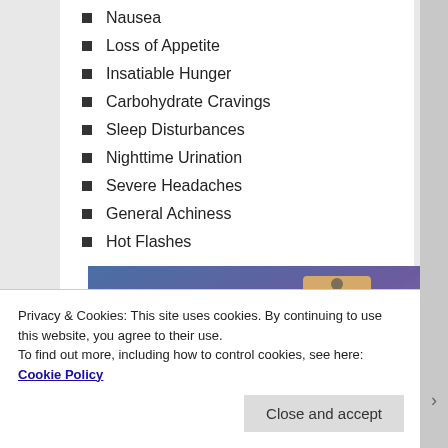Nausea
Loss of Appetite
Insatiable Hunger
Carbohydrate Cravings
Sleep Disturbances
Nighttime Urination
Severe Headaches
General Achiness
Hot Flashes
[Figure (illustration): Advertisement banner with gradient blue-purple background, a price tag illustration, and pink 'Build Your Website' button]
Privacy & Cookies: This site uses cookies. By continuing to use this website, you agree to their use.
To find out more, including how to control cookies, see here: Cookie Policy